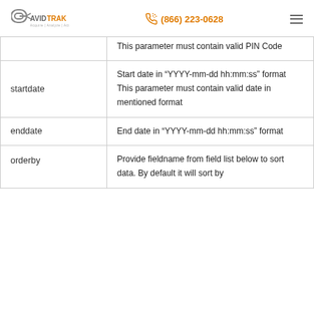AvidTrak | (866) 223-0628
| Parameter | Description |
| --- | --- |
|  | This parameter must contain valid PIN Code |
| startdate | Start date in “YYYY-mm-dd hh:mm:ss” format
This parameter must contain valid date in mentioned format |
| enddate | End date in “YYYY-mm-dd hh:mm:ss” format |
| orderby | Provide fieldname from field list below to sort data. By default it will sort by |